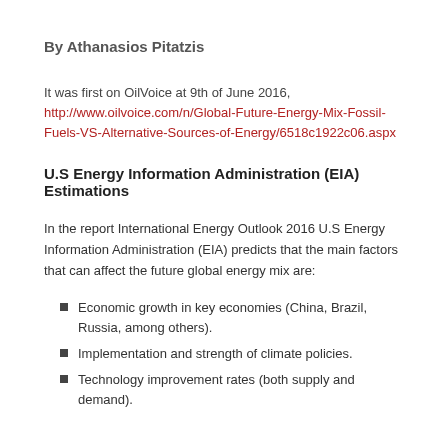By Athanasios Pitatzis
It was first on OilVoice at 9th of June 2016, http://www.oilvoice.com/n/Global-Future-Energy-Mix-Fossil-Fuels-VS-Alternative-Sources-of-Energy/6518c1922c06.aspx
U.S Energy Information Administration (EIA) Estimations
In the report International Energy Outlook 2016 U.S Energy Information Administration (EIA) predicts that the main factors that can affect the future global energy mix are:
Economic growth in key economies (China, Brazil, Russia, among others).
Implementation and strength of climate policies.
Technology improvement rates (both supply and demand).